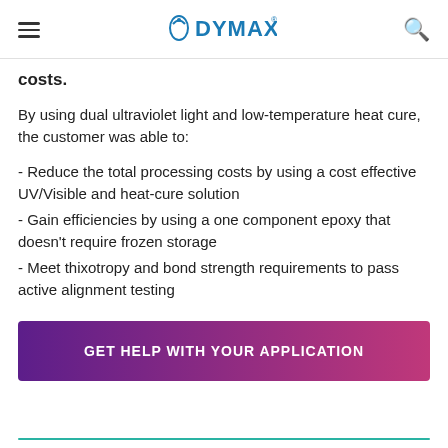DYMAX
costs.
By using dual ultraviolet light and low-temperature heat cure, the customer was able to:
- Reduce the total processing costs by using a cost effective UV/Visible and heat-cure solution
- Gain efficiencies by using a one component epoxy that doesn't require frozen storage
- Meet thixotropy and bond strength requirements to pass active alignment testing
GET HELP WITH YOUR APPLICATION